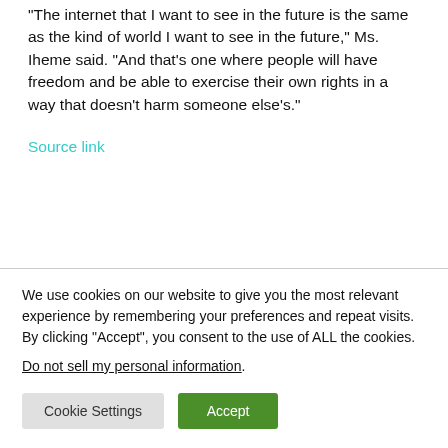“The internet that I want to see in the future is the same as the kind of world I want to see in the future,” Ms. Iheme said. “And that’s one where people will have freedom and be able to exercise their own rights in a way that doesn’t harm someone else’s.”
Source link
We use cookies on our website to give you the most relevant experience by remembering your preferences and repeat visits. By clicking “Accept”, you consent to the use of ALL the cookies.
Do not sell my personal information.